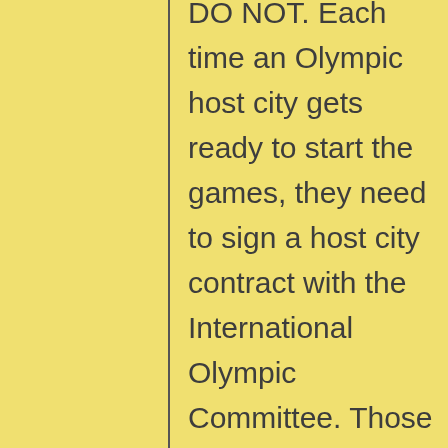DO NOT. Each time an Olympic host city gets ready to start the games, they need to sign a host city contract with the International Olympic Committee. Those contracts are